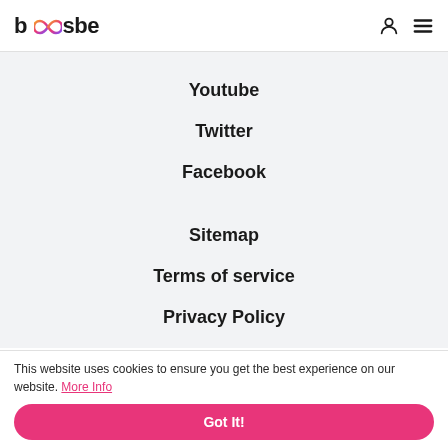boosbe [logo with infinity symbol] — user icon, hamburger menu
Youtube
Twitter
Facebook
Sitemap
Terms of service
Privacy Policy
This website uses cookies to ensure you get the best experience on our website. More Info
Got It!